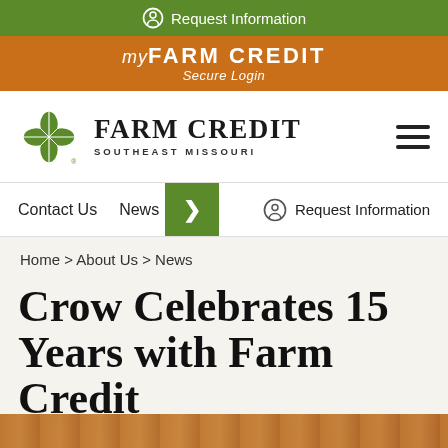Request Information
myFARMCREDIT Secure Login
[Figure (logo): Farm Credit Southeast Missouri logo with green four-leaf clover icon]
Contact Us   News   Request Information
Home > About Us > News
Crow Celebrates 15 Years with Farm Credit
[Figure (photo): Bottom image strip partially visible]